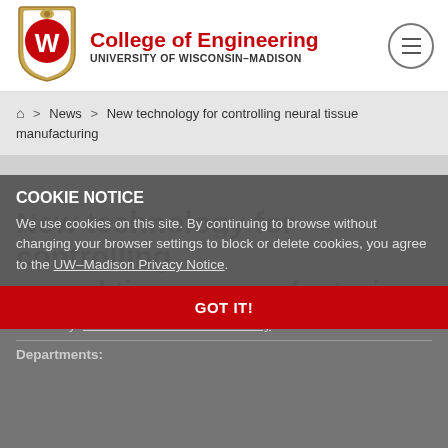[Figure (logo): University of Wisconsin-Madison shield logo with W]
College of Engineering UNIVERSITY OF WISCONSIN-MADISON
Home > News > New technology for controlling neural tissue manufacturing
COOKIE NOTICE
We use cookies on this site. By continuing to browse without changing your browser settings to block or delete cookies, you agree to the UW–Madison Privacy Notice.
GOT IT!
11/02/2018
New technology for controlling neural tissue manufacturing
Written By: Wisconsin Institute for Discovery
Departments: